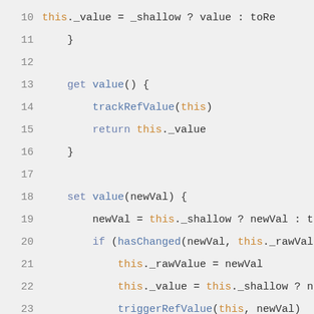[Figure (screenshot): Code block showing JavaScript class implementation with line numbers 10-26, featuring get and set value methods with reactive tracking. Syntax highlighting: blue/purple for keywords, orange for 'this' keyword, dark for identifiers.]
RefImpl 의 구현입니다
value 의 구현입니다